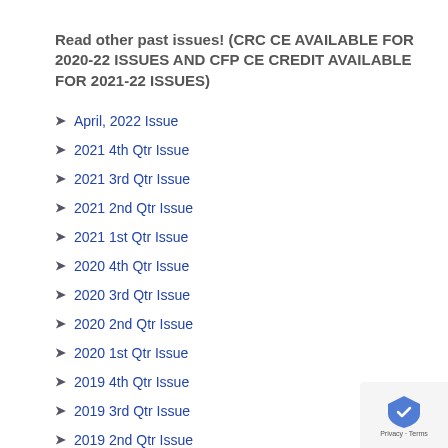Read other past issues! (CRC CE AVAILABLE FOR 2020-22 ISSUES AND CFP CE CREDIT AVAILABLE FOR 2021-22 ISSUES)
April, 2022 Issue
2021 4th Qtr Issue
2021 3rd Qtr Issue
2021 2nd Qtr Issue
2021 1st Qtr Issue
2020 4th Qtr Issue
2020 3rd Qtr Issue
2020 2nd Qtr Issue
2020 1st Qtr Issue
2019 4th Qtr Issue
2019 3rd Qtr Issue
2019 2nd Qtr Issue